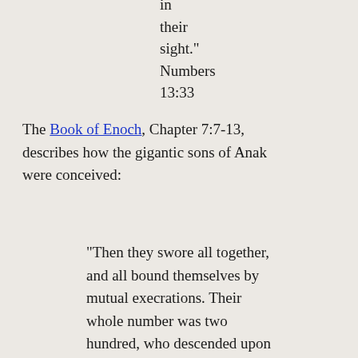in their sight.” Numbers 13:33
The Book of Enoch, Chapter 7:7-13, describes how the gigantic sons of Anak were conceived:
“Then they swore all together, and all bound themselves by mutual execrations. Their whole number was two hundred, who descended upon Ardis, which is the top of mount Armon.* That